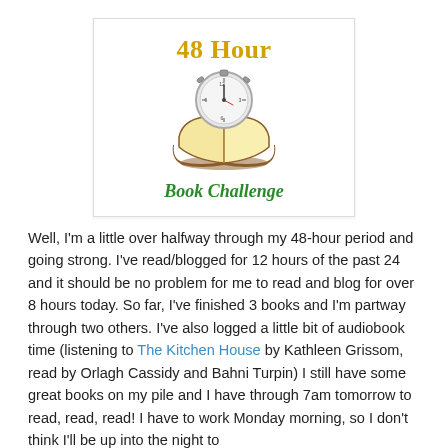[Figure (logo): 48 Hour Book Challenge logo: stylized text '48 Hour' in gold, a stopwatch illustration above an open book, and 'Book Challenge' in green italic text below]
Well, I'm a little over halfway through my 48-hour period and going strong. I've read/blogged for 12 hours of the past 24 and it should be no problem for me to read and blog for over 8 hours today. So far, I've finished 3 books and I'm partway through two others. I've also logged a little bit of audiobook time (listening to The Kitchen House by Kathleen Grissom, read by Orlagh Cassidy and Bahni Turpin) I still have some great books on my pile and I have through 7am tomorrow to read, read, read! I have to work Monday morning, so I don't think I'll be up into the night to...